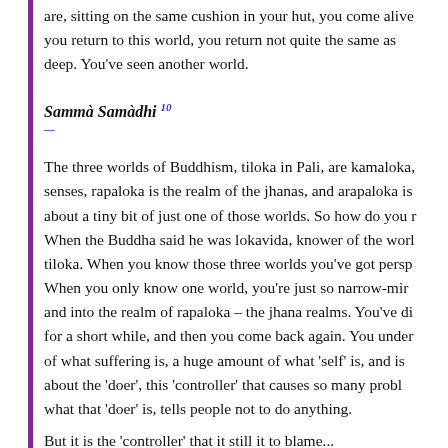are, sitting on the same cushion in your hut, you come alive you return to this world, you return not quite the same as deep. You've seen another world.
Sammà Samàdhi 10
The three worlds of Buddhism, tiloka in Pali, are kamaloka, senses, rapaloka is the realm of the jhanas, and arapaloka is about a tiny bit of just one of those worlds. So how do you r When the Buddha said he was lokavida, knower of the worl tiloka. When you know those three worlds you've got persp When you only know one world, you're just so narrow-min and into the realm of rapaloka – the jhana realms. You've di for a short while, and then you come back again. You under of what suffering is, a huge amount of what 'self' is, and is about the 'doer', this 'controller' that causes so many probl what that 'doer' is, tells people not to do anything.
But it is the 'controller' that it still it to blame...